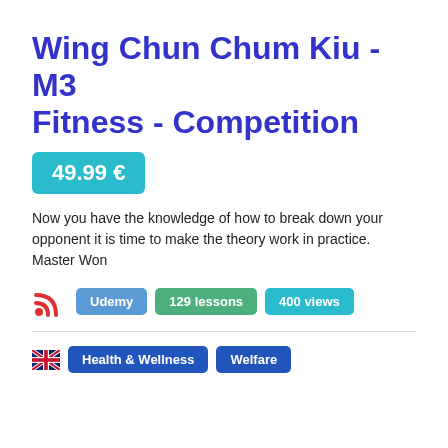Wing Chun Chum Kiu - M3 Fitness - Competition
49.99 €
Now you have the knowledge of how to break down your opponent it is time to make the theory work in practice. Master Won
Udemy · 129 lessons · 400 views
Health & Wellness · Welfare